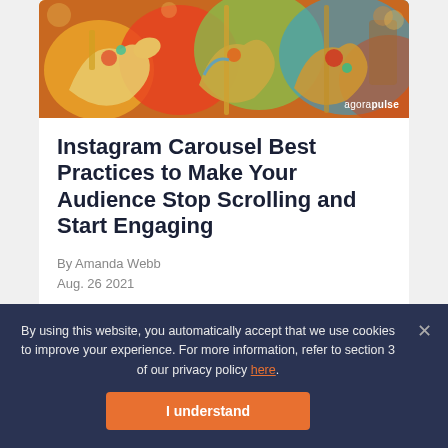[Figure (photo): Carousel horses photo with agorapulse watermark in bottom right]
Instagram Carousel Best Practices to Make Your Audience Stop Scrolling and Start Engaging
By Amanda Webb
Aug. 26 2021
By using this website, you automatically accept that we use cookies to improve your experience. For more information, refer to section 3 of our privacy policy here.
I understand